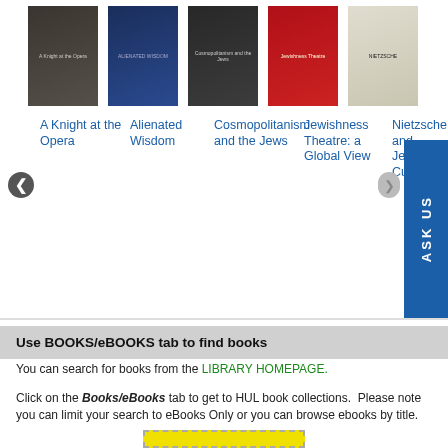[Figure (illustration): Book carousel showing 5 book covers: A Knight at the Opera (dark cover), Alienated Wisdom (dark blue cover), Cosmopolitanism and the Jews (dark cover), Jewishness Theatre: a Global View (red cover), Nietzsche and Jewish Culture (light cover). Navigation arrows and ASK US sidebar visible.]
A Knight at the Opera
Alienated Wisdom
Cosmopolitanism and the Jews
Jewishness Theatre: a Global View
Nietzsche and Jewish Culture
Use BOOKS/eBOOKS tab to find books
You can search for books from the LIBRARY HOMEPAGE.
Click on the Books/eBooks tab to get to HUL book collections. Please note you can limit your search to eBooks Only or you can browse ebooks by title.